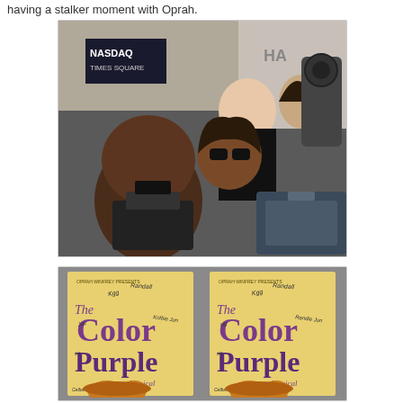having a stalker moment with Oprah.
[Figure (photo): A crowd scene photo showing Oprah Winfrey wearing large sunglasses, a man behind her smiling, a bald man in the foreground with a camera/recorder, and professional camera equipment. A NASDAQ Times Square sign is visible in the background.]
[Figure (photo): Two signed Color Purple musical playbills/posters side by side. Both show 'The Color Purple – A New Musical' with multiple autographs across the front.]